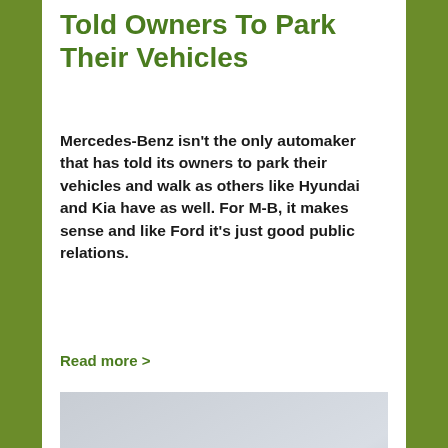Told Owners To Park Their Vehicles
Mercedes-Benz isn't the only automaker that has told its owners to park their vehicles and walk as others like Hyundai and Kia have as well. For M-B, it makes sense and like Ford it's just good public relations.
Read more >
[Figure (photo): Silver concept car (Mercedes-Benz style) photographed from a front three-quarter angle on a light gray background]